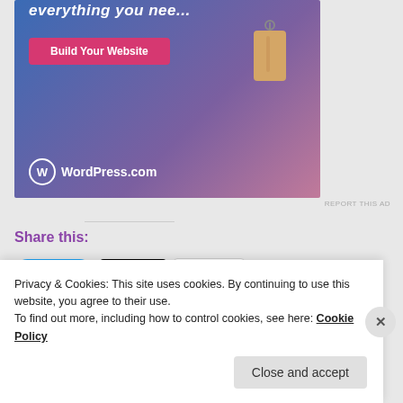[Figure (screenshot): WordPress.com advertisement banner with gradient blue-purple-pink background, 'Build Your Website' pink button, price tag illustration, and WordPress.com logo]
REPORT THIS AD
Share this:
Tweet  Post  More
Like
Privacy & Cookies: This site uses cookies. By continuing to use this website, you agree to their use.
To find out more, including how to control cookies, see here: Cookie Policy
Close and accept